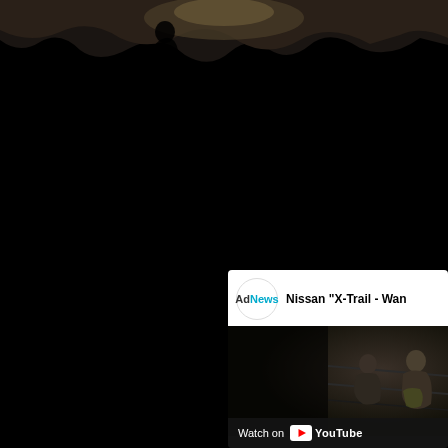[Figure (photo): Dark cave/rock texture photograph at the top of the page, mostly black with rocky cave ceiling visible]
[Figure (screenshot): YouTube video card embed showing AdNews channel with title 'Nissan X-Trail - Wan...' and a dark video thumbnail with people visible. Footer shows 'Watch on YouTube' branding.]